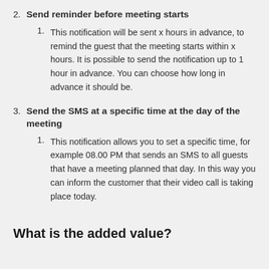2. Send reminder before meeting starts
1. This notification will be sent x hours in advance, to remind the guest that the meeting starts within x hours. It is possible to send the notification up to 1 hour in advance. You can choose how long in advance it should be.
3. Send the SMS at a specific time at the day of the meeting
1. This notification allows you to set a specific time, for example 08.00 PM that sends an SMS to all guests that have a meeting planned that day. In this way you can inform the customer that their video call is taking place today.
What is the added value?